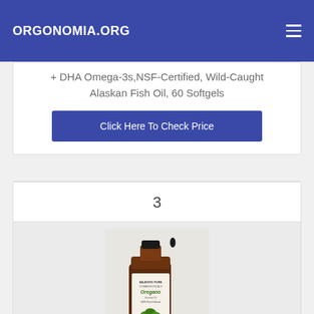ORGONOMIA.ORG
+ DHA Omega-3s, NSF-Certified, Wild-Caught Alaskan Fish Oil, 60 Softgels
Click Here To Check Price
3
[Figure (photo): Majestic Pure Oregano Essential Oil bottle with dropper]
Majestic Pure Oregano Essential Oil, Pure and